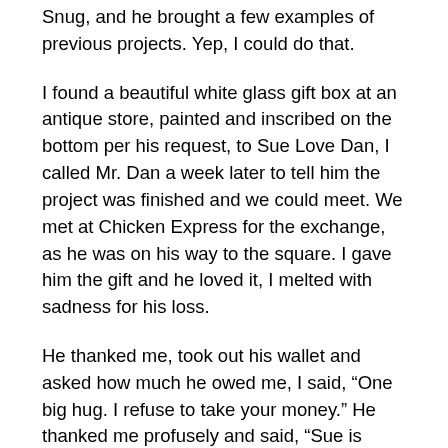Snug, and he brought a few examples of previous projects. Yep, I could do that.
I found a beautiful white glass gift box at an antique store, painted and inscribed on the bottom per his request, to Sue Love Dan, I called Mr. Dan a week later to tell him the project was finished and we could meet. We met at Chicken Express for the exchange, as he was on his way to the square. I gave him the gift and he loved it, I melted with sadness for his loss.
He thanked me, took out his wallet and asked how much he owed me, I said, “One big hug. I refuse to take your money.” He thanked me profusely and said, “Sue is going to love it. She’s at her sister’s today, so I can hide it before she gets home.”
Ahhhh, the lightbulb went of over my head. His wife hadn’t